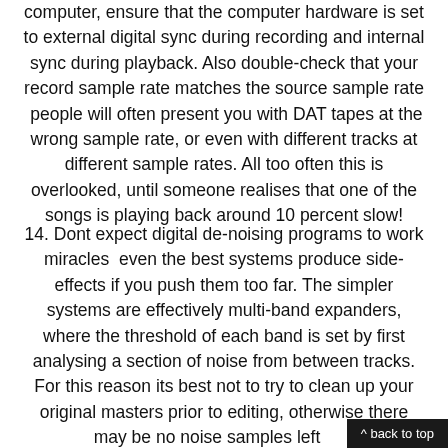computer, ensure that the computer hardware is set to external digital sync during recording and internal sync during playback. Also double-check that your record sample rate matches the source sample rate  people will often present you with DAT tapes at the wrong sample rate, or even with different tracks at different sample rates. All too often this is overlooked, until someone realises that one of the songs is playing back around 10 percent slow!
14. Dont expect digital de-noising programs to work miracles  even the best systems produce side-effects if you push them too far. The simpler systems are effectively multi-band expanders, where the threshold of each band is set by first analysing a section of noise from between tracks. For this reason its best not to try to clean up your original masters prior to editing, otherwise there may be no noise samples left to work from. With careful use you can achieve a fe